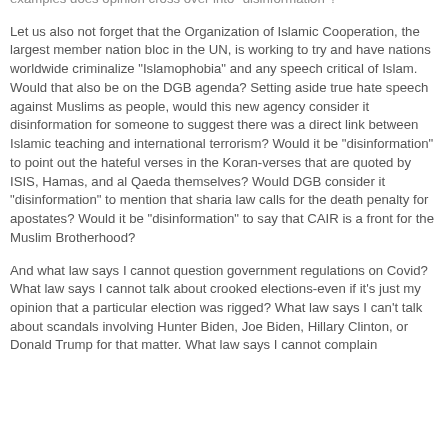examples does opinion cross over into "disinformation"?
Let us also not forget that the Organization of Islamic Cooperation, the largest member nation bloc in the UN, is working to try and have nations worldwide criminalize "Islamophobia" and any speech critical of Islam. Would that also be on the DGB agenda? Setting aside true hate speech against Muslims as people, would this new agency consider it disinformation for someone to suggest there was a direct link between Islamic teaching and international terrorism? Would it be "disinformation" to point out the hateful verses in the Koran-verses that are quoted by ISIS, Hamas, and al Qaeda themselves? Would DGB consider it "disinformation" to mention that sharia law calls for the death penalty for apostates? Would it be "disinformation" to say that CAIR is a front for the Muslim Brotherhood?
And what law says I cannot question government regulations on Covid? What law says I cannot talk about crooked elections-even if it's just my opinion that a particular election was rigged? What law says I can't talk about scandals involving Hunter Biden, Joe Biden, Hillary Clinton, or Donald Trump for that matter. What law says I cannot complain